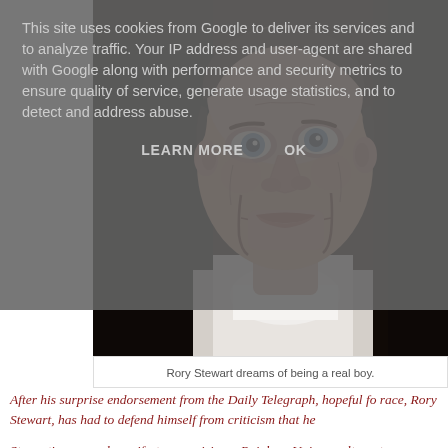This site uses cookies from Google to deliver its services and to analyze traffic. Your IP address and user-agent are shared with Google along with performance and security metrics to ensure quality of service, generate usage statistics, and to detect and address abuse.
LEARN MORE    OK
[Figure (photo): Close-up photo of a ventriloquist dummy (puppet) face with realistic skin texture, blue eyes, and a hinged wooden jaw, wearing a white collar. Dark background.]
Rory Stewart dreams of being a real boy.
After his surprise endorsement from the Daily Telegraph, hopeful for race, Rory Stewart, has had to defend himself from criticism that he
Stewart's personal manifesto, promising a Rainbow Unicorn alternat